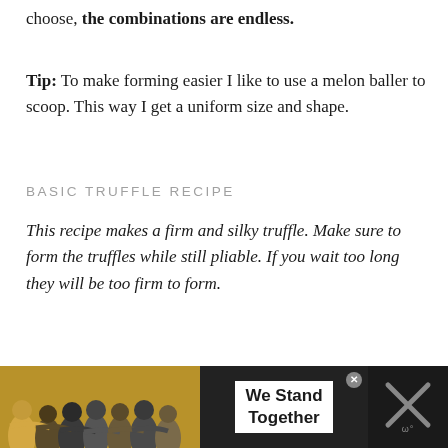choose, the combinations are endless.
Tip: To make forming easier I like to use a melon baller to scoop. This way I get a uniform size and shape.
BASIC TRUFFLE RECIPE
This recipe makes a firm and silky truffle. Make sure to form the truffles while still pliable. If you wait too long they will be too firm to form.
[Figure (photo): Advertisement banner at bottom of page showing people with arms around each other from behind, with text 'We Stand Together' and an X/close button]